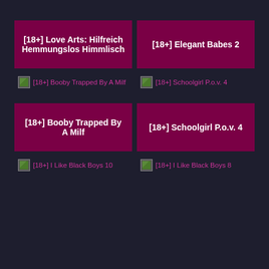[18+] Love Arts: Hilfreich Hemmungslos Himmlisch
[18+] Elegant Babes 2
[18+] Booby Trapped By A Milf
[18+] Schoolgirl P.o.v. 4
[18+] Booby Trapped By A Milf
[18+] Schoolgirl P.o.v. 4
[18+] I Like Black Boys 10
[18+] I Like Black Boys 8